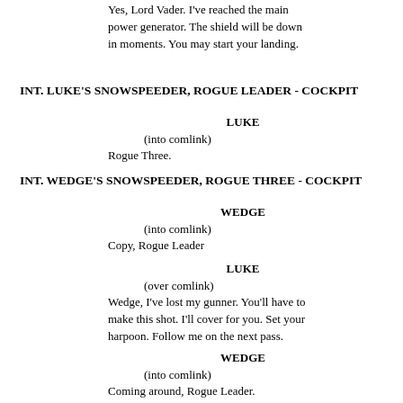Yes, Lord Vader.  I've reached the main power generator.  The shield will be down in moments.  You may start your landing.
INT.  LUKE'S SNOWSPEEDER, ROGUE LEADER - COCKPIT
LUKE
(into comlink)
Rogue Three.
INT. WEDGE'S SNOWSPEEDER, ROGUE THREE - COCKPIT
WEDGE
(into comlink)
Copy, Rogue Leader
LUKE
(over comlink)
Wedge, I've lost my gunner.  You'll have to make this shot.  I'll cover for you.  Set your harpoon.  Follow me on the next pass.
WEDGE
(into comlink)
Coming around, Rogue Leader.
INT.  LUKE'S SNOWSPEEDER, ROGUE LEADER - COCKPIT